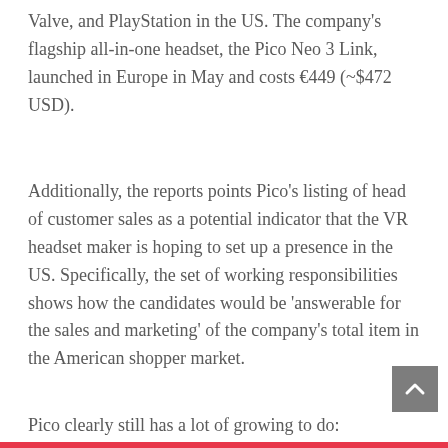Valve, and PlayStation in the US. The company's flagship all-in-one headset, the Pico Neo 3 Link, launched in Europe in May and costs €449 (~$472 USD).
Additionally, the reports points Pico's listing of head of customer sales as a potential indicator that the VR headset maker is hoping to set up a presence in the US. Specifically, the set of working responsibilities shows how the candidates would be 'answerable for the sales and marketing' of the company's total item in the American shopper market.
Pico clearly still has a lot of growing to do: